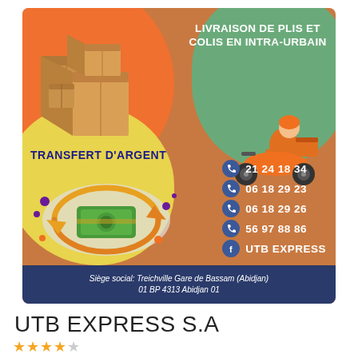[Figure (infographic): UTB Express S.A. promotional card showing delivery and money transfer services. Features: cardboard boxes illustration top-left on orange blob, delivery scooter illustration top-right on green blob, money transfer circular arrow with cash on yellow blob bottom-left. Contact numbers with phone icons and Facebook icon on right. Dark blue footer with address.]
LIVRAISON DE PLIS ET COLIS EN INTRA-URBAIN
TRANSFERT D'ARGENT
21 24 18 34
06 18 29 23
06 18 29 26
56 97 88 86
UTB EXPRESS
Siège social: Treichville Gare de Bassam (Abidjan)
01 BP 4313 Abidjan 01
UTB EXPRESS S.A